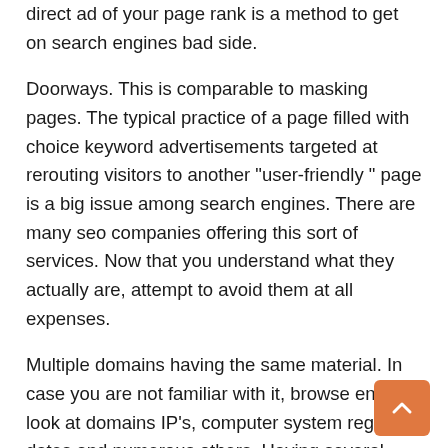direct ad of your page rank is a method to get on search engines bad side.
Doorways. This is comparable to masking pages. The typical practice of a page filled with choice keyword advertisements targeted at rerouting visitors to another "user-friendly " page is a big issue among search engines. There are many seo companies offering this sort of services. Now that you understand what they actually are, attempt to avoid them at all expenses.
Multiple domains having the same material. In case you are not familiar with it, browse engines look at domains IP's, computer system registry dates and numerous others. Having several domains having the exact same exact content is